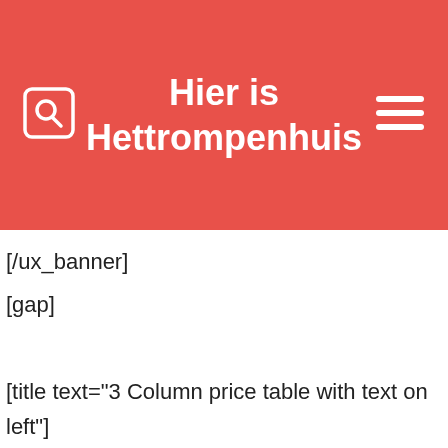Hier is Hettrompenhuis
[/ux_banner]
[gap]
[title text="3 Column price table with text on left"]
[gap]
[row]
[col span="3" padding="0 20px 0 0"]
Pricing
[divider]